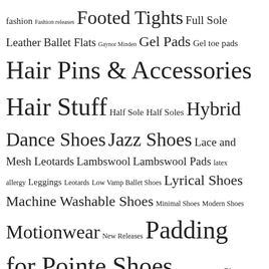fashion Fashion releases Footed Tights Full Sole Leather Ballet Flats Gaynor Minden Gel Pads Gel toe pads Hair Pins & Accessories Hair Stuff Half Sole Half Soles Hybrid Dance Shoes Jazz Shoes Lace and Mesh Leotards Lambswool Lambswool Pads latex allergy Leggings Leotards Low Vamp Ballet Shoes Lyrical Shoes Machine Washable Shoes Minimal Shoes Modern Shoes Motionwear New Releases Padding for Pointe Shoes Patent tap shoes Plus Tights Pointe Shoe Accessories Pointe Shoes Pre-Sewn Ballet Shoes Rhythmic Gymnastics Ribbons for Pointe Shoes ribbon tie tap shoes Sansha Sansha 11C Perform Sansha 11C Performance Sansha Pro 1C Sansha Pro11C Self Waistband shiny black tap shoes Sleeveless Leotards So Danca Split Sole Canvas Ballet Flats Split Sole Tap Stellar Stretchy Ribbons Suffolk Tank Leotards Tap Shoes TLC Ribbons Toe Pads